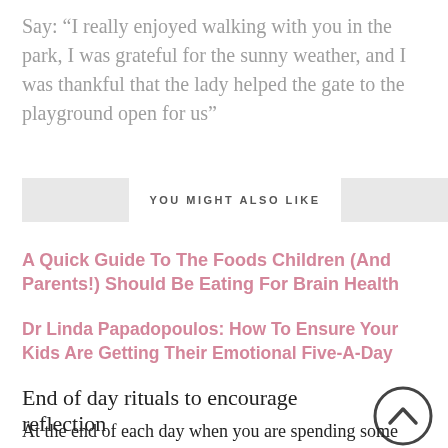Say: “I really enjoyed walking with you in the park, I was grateful for the sunny weather, and I was thankful that the lady helped the gate to the playground open for us”
YOU MIGHT ALSO LIKE
A Quick Guide To The Foods Children (And Parents!) Should Be Eating For Brain Health
Dr Linda Papadopoulos: How To Ensure Your Kids Are Getting Their Emotional Five-A-Day
End of day rituals to encourage reflection
At the end of each day when you are spending some time with your child before bed, try to find a brief